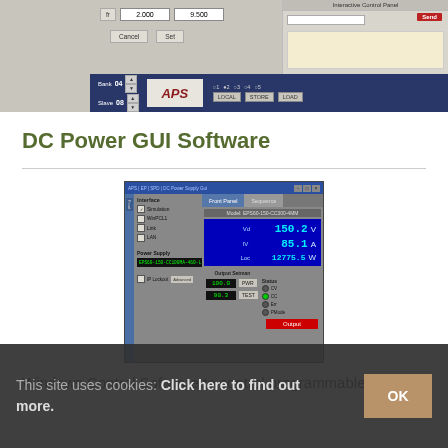[Figure (screenshot): Top portion of APS (Adaptive Power Systems) software UI screenshot showing a dialog with Cancel/Set buttons, input fields with values 2.000 and 9.500, an Interactive Control Panel with Send button, and a bottom bar with bank/slave selectors, APS logo, radio buttons numbered 1-5, and LOCAL/STORE/LOAD buttons.]
DC Power GUI Software
[Figure (screenshot): DC Power Supply GUI software window showing front panel view with Interface options (Simulation, WinPCL1, Link, LAN checkboxes), Power Supply dropdown showing a device code, a blue digital meter display showing Vd: 150.2 V, IV: 85.1 A, Loc: 12775.5 W, output setpoint controls with values 100.0 and 90.3 with PWR/TEST buttons, status indicators, and a red Output button.]
Windows Control Software to control programmable DC
This site uses cookies: Click here to find out more.